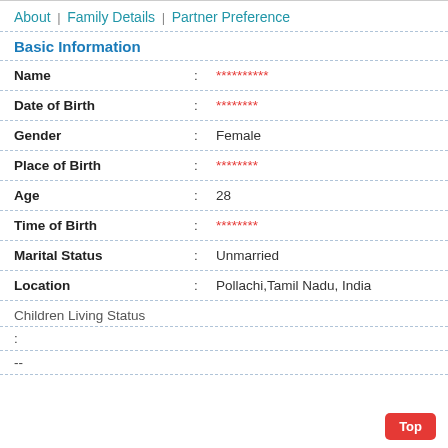About | Family Details | Partner Preference
Basic Information
Name : **********
Date of Birth : ********
Gender : Female
Place of Birth : ********
Age : 28
Time of Birth : ********
Marital Status : Unmarried
Location : Pollachi,Tamil Nadu, India
Children Living Status
:
--